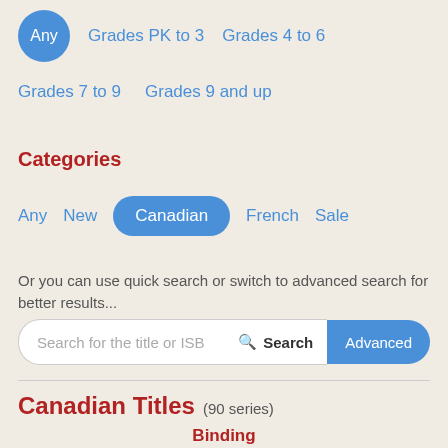Any  Grades PK to 3  Grades 4 to 6
Grades 7 to 9  Grades 9 and up
Categories
Any  New  Canadian  French  Sale
Or you can use quick search or switch to advanced search for better results...
Search for the title or ISB  Search  Advanced
Canadian Titles (90 series)
Binding